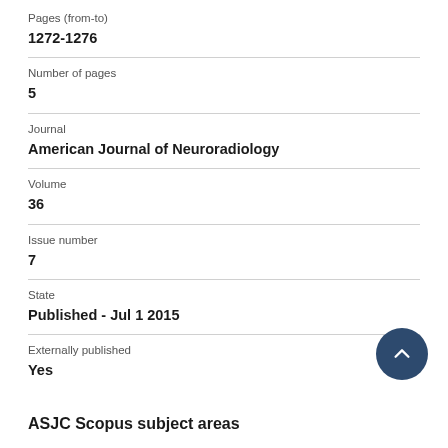Pages (from-to)
1272-1276
Number of pages
5
Journal
American Journal of Neuroradiology
Volume
36
Issue number
7
State
Published - Jul 1 2015
Externally published
Yes
ASJC Scopus subject areas